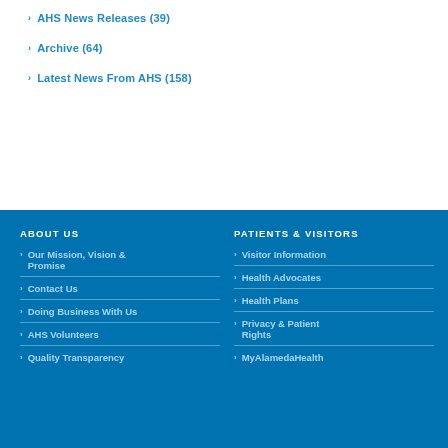AHS News Releases (39)
Archive (64)
Latest News From AHS (158)
ABOUT US
Our Mission, Vision & Promise
Contact Us
Doing Business With Us
AHS Volunteers
Quality Transparency
PATIENTS & VISITORS
Visitor Information
Health Advocates
Health Plans
Privacy & Patient Rights
MyAlamedaHealth